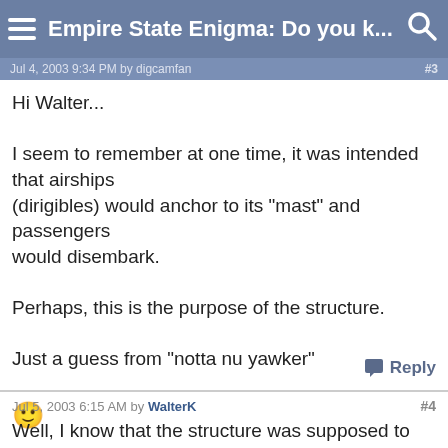Empire State Enigma: Do you k...
Jul 4, 2003 9:34 PM by digcamfan  #3
Hi Walter...

I seem to remember at one time, it was intended that airships (dirigibles) would anchor to its "mast" and passengers would disembark.

Perhaps, this is the purpose of the structure.

Just a guess from "notta nu yawker"

:)
Reply
Jul 5, 2003 6:15 AM by WalterK  #4
Well, I know that the structure was supposed to moor blimps. According to the official ESB website, the...